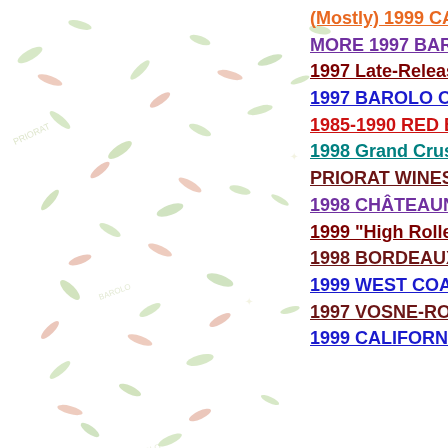[Figure (illustration): Decorative background with scattered small leaf/grain shapes in light green, red/orange, and olive colors across the full page.]
(Mostly) 1999 CA…
MORE 1997 BARO…
1997 Late-Released…
1997 BAROLO  O…
1985-1990 RED BI…
1998 Grand Crus …
PRIORAT WINES …
1998 CHÂTEAUNN…
1999 "High Roller…
1998 BORDEAUX …
1999 WEST COAS…
1997 VOSNE-ROM…
1999 CALIFORNIA…